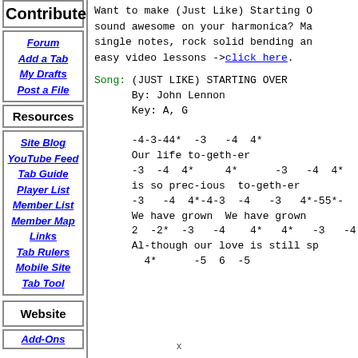Contribute
Forum
Add a Tab
My Drafts
Post a File
Resources
Site Blog
YouTube Feed
Tab Guide
Player List
Member List
Member Map
Links
Tab Rulers
Mobile Site
Tab Tool
Website
Add-Ons
Want to make (Just Like) Starting O... sound awesome on your harmonica? Ma... single notes, rock solid bending an... easy video lessons ->click here.
Song: (JUST LIKE) STARTING OVER
By: John Lennon
Key: A, G

-4-3-44*  -3   -4  4*
Our life to-geth-er
-3  -4  4*     4*      -3   -4  4*
is so prec-ious  to-geth-er
-3   -4  4*-4-3  -4   -3   4*-55*-
We have grown  We have grown
2  -2*  -3   -4    4*   4*   -3   -4
Al-though our love is still sp
  4*      -5  6  -5